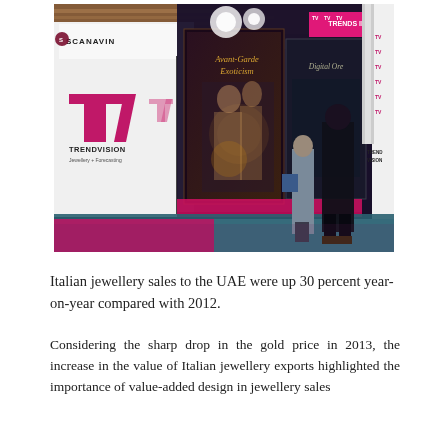[Figure (photo): Trade show floor photo showing Trendvision Jewellery + Forecasting booth and Scanavin stand, with display panels featuring 'Avant-Garde Exoticism' and 'Digital Ore' titles, people walking on pink and blue carpet, bright lighting.]
Italian jewellery sales to the UAE were up 30 percent year-on-year compared with 2012.
Considering the sharp drop in the gold price in 2013, the increase in the value of Italian jewellery exports highlighted the importance of value-added design in jewellery sales